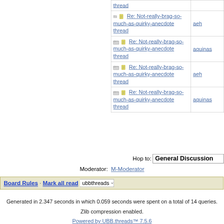| Topic | Author |
| --- | --- |
| thread |  |
| Re: Not-really-brag-so-much-as-quirky-anecdote thread | aeh |
| Re: Not-really-brag-so-much-as-quirky-anecdote thread | aquinas |
| Re: Not-really-brag-so-much-as-quirky-anecdote thread | aeh |
| Re: Not-really-brag-so-much-as-quirky-anecdote thread | aquinas |
Hop to:  General Discussion
Moderator:  M-Moderator
Board Rules · Mark all read  ubbthreads
Generated in 2.347 seconds in which 0.059 seconds were spent on a total of 14 queries. Zlib compression enabled. Powered by UBB.threads™ 7.5.6